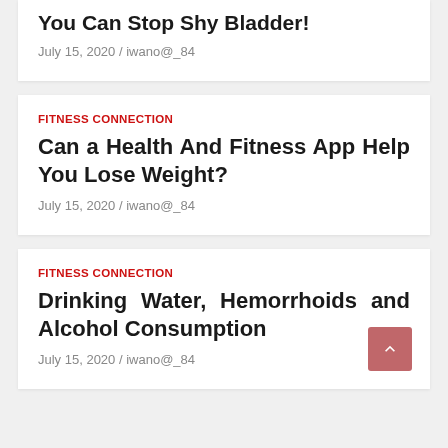You Can Stop Shy Bladder!
July 15, 2020 / iwano@_84
FITNESS CONNECTION
Can a Health And Fitness App Help You Lose Weight?
July 15, 2020 / iwano@_84
FITNESS CONNECTION
Drinking Water, Hemorrhoids and Alcohol Consumption
July 15, 2020 / iwano@_84